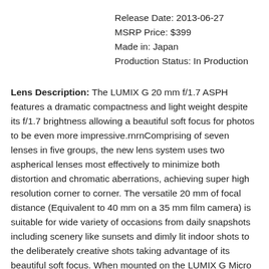Release Date: 2013-06-27
MSRP Price: $399
Made in: Japan
Production Status: In Production
Lens Description: The LUMIX G 20 mm f/1.7 ASPH features a dramatic compactness and light weight despite its f/1.7 brightness allowing a beautiful soft focus for photos to be even more impressive.rnrnComprising of seven lenses in five groups, the new lens system uses two aspherical lenses most effectively to minimize both distortion and chromatic aberrations, achieving super high resolution corner to corner. The versatile 20 mm of focal distance (Equivalent to 40 mm on a 35 mm film camera) is suitable for wide variety of occasions from daily snapshots including scenery like sunsets and dimly lit indoor shots to the deliberately creative shots taking advantage of its beautiful soft focus. When mounted on the LUMIX G Micro System Cameras, the LUMIX G 20 mm / f/1.7 ASPH allows use of the advanced contrast AF system, which includes a